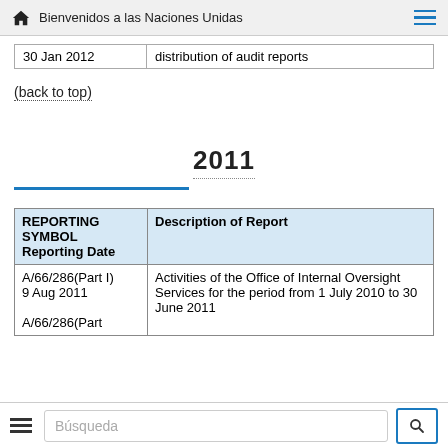Bienvenidos a las Naciones Unidas
|  |  |
| --- | --- |
| 30 Jan 2012 | distribution of audit reports |
(back to top)
2011
| REPORTING SYMBOL
Reporting Date | Description of Report |
| --- | --- |
| A/66/286(Part I)
9 Aug 2011
A/66/286(Part | Activities of the Office of Internal Oversight Services for the period from 1 July 2010 to 30 June 2011 |